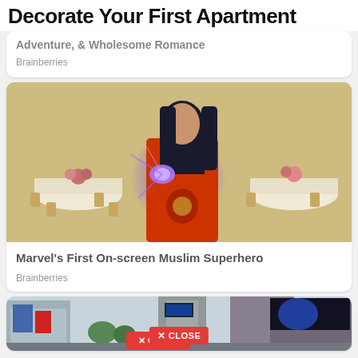Decorate Your First Apartment
Adventure, & Wholesome Romance
Brainberries
[Figure (photo): A young woman in a red traditional outfit with glowing purple/blue energy in her hand, standing in a banquet hall with round tables and floral arrangements.]
Marvel's First On-screen Muslim Superhero
Brainberries
[Figure (photo): A busy city street scene with colorful commercial signage and billboard lights, appearing to be in Asia.]
CLOSE